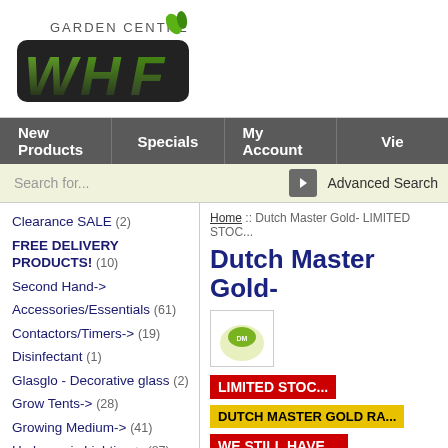[Figure (logo): WHF Garden Centre logo with green leaf and white/black WHF letters]
New Products | Specials | My Account | Vie...
Search for... Advanced Search
Home :: Dutch Master Gold- LIMITED STOC...
Dutch Master Gold-
[Figure (logo): Dutch Master Gold product logo thumbnail]
LIMITED STOC...
DUTCH MASTER GOLD RA...
WE STILL HAVE ...
Clearance SALE (2)
FREE DELIVERY PRODUCTS! (10)
Second Hand->
Accessories/Essentials (61)
Contactors/Timers-> (19)
Disinfectant (1)
Glasglo - Decorative glass (2)
Grow Tents-> (28)
Growing Medium-> (41)
Hydroponic Lighting-> (87)